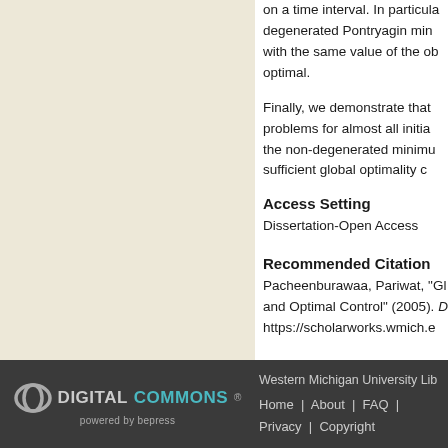on a time interval. In particular, degenerated Pontryagin minimum with the same value of the objective optimal.
Finally, we demonstrate that problems for almost all initial the non-degenerated minimum sufficient global optimality conditions.
Access Setting
Dissertation-Open Access
Recommended Citation
Pacheenburawaa, Pariwat, "Gl and Optimal Control" (2005). D https://scholarworks.wmich.e
Western Michigan University Lib Home | About | FAQ | Privacy | Copyright